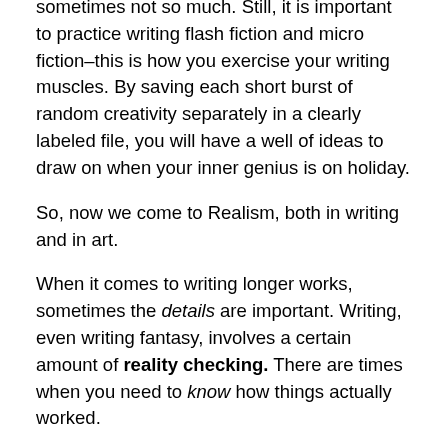sometimes not so much. Still, it is important to practice writing flash fiction and micro fiction–this is how you exercise your writing muscles. By saving each short burst of random creativity separately in a clearly labeled file, you will have a well of ideas to draw on when your inner genius is on holiday.
So, now we come to Realism, both in writing and in art.
When it comes to writing longer works, sometimes the details are important. Writing, even writing fantasy, involves a certain amount of reality checking. There are times when you need to know how things actually worked.
We write stories for the public, people we haven't met. These are readers with knowledge and life experiences we authors aren't aware of. We should assume they understand what we are writing about. With that in mind, if